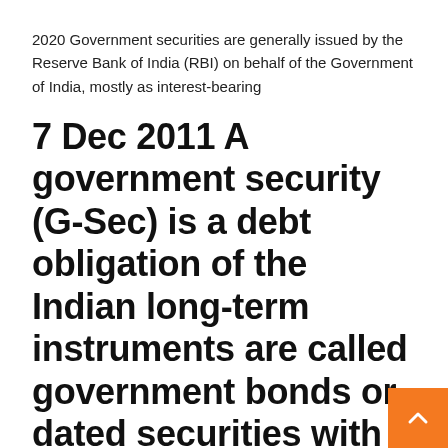2020 Government securities are generally issued by the Reserve Bank of India (RBI) on behalf of the Government of India, mostly as interest-bearing
7 Dec 2011 A government security (G-Sec) is a debt obligation of the Indian long-term instruments are called government bonds or dated securities with a
National Portal of India is a Mission Mode Project under the National E-Governance Plan, designed and developed by National Informatics Centre (NIC), Ministry of Electronics & Information Technology, Government of India. It has been developed with an objective to enable a single window access